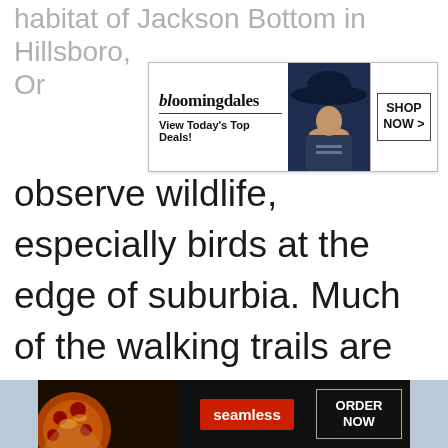habitat of Jackson Bottom in Hillsboro, Or
[Figure (screenshot): Bloomingdale's advertisement banner: logo with 'bloomingdales' text, 'View Today's Top Deals!' tagline, woman in hat image, 'SHOP NOW >' call-to-action button]
observe wildlife, especially birds at the edge of suburbia. Much of the walking trails are easily accessible, even by wheelchair, to be explored and enjoyed by all.
[Figure (screenshot): Gray advertisement placeholder box with 'CLOSE' button in bottom right corner]
[Figure (screenshot): Seamless food delivery advertisement with pizza image, Seamless red logo, and 'ORDER NOW' button]